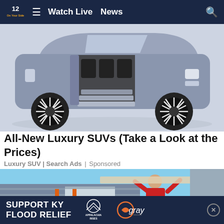12 On Your Side | Watch Live  News
[Figure (photo): Luxury SUV (Lincoln Navigator concept) shown with doors open revealing interior seats and retractable steps, on a light background]
All-New Luxury SUVs (Take a Look at the Prices)
Luxury SUV | Search Ads | Sponsored
[Figure (photo): Person in red shirt on an orange ladder installing or boarding up a window on a house exterior]
SUPPORT KY FLOOD RELIEF  APPALACHIA RISES  gray